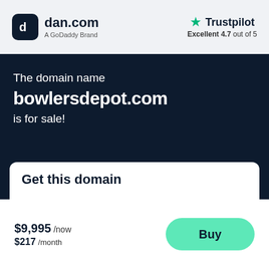[Figure (logo): dan.com logo — dark rounded square icon with stylized 'c' and 'd', next to 'dan.com' text and 'A GoDaddy Brand' subtitle]
[Figure (logo): Trustpilot logo with green star and 'Trustpilot' text, rating 'Excellent 4.7 out of 5']
The domain name
bowlersdepot.com
is for sale!
Get this domain
$9,995 /now
$217 /month